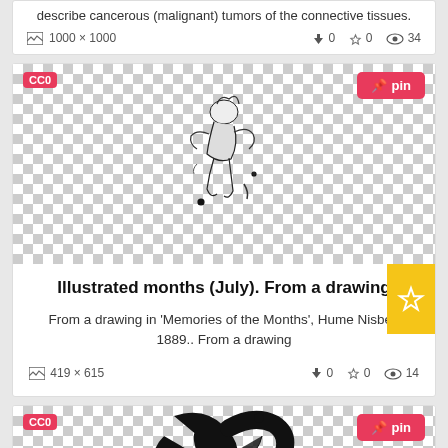describe cancerous (malignant) tumors of the connective tissues.
1000 x 1000   ↓0  ☆0  👁 34
[Figure (illustration): Illustrated months (July) - black and white sketch of a figure, from a drawing in Memories of the Months by Hume Nisbet, 1889]
Illustrated months (July). From a drawing
From a drawing in 'Memories of the Months', Hume Nisbet, 1889.. From a drawing
419 x 615   ↓0  ☆0  👁 14
[Figure (illustration): Partial view of a black and white drawing showing bold curved strokes resembling a hand or abstract figure]